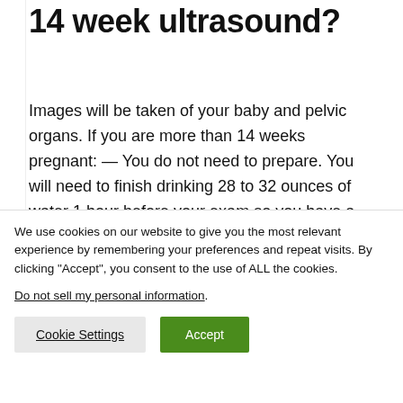14 week ultrasound?
Images will be taken of your baby and pelvic organs. If you are more than 14 weeks pregnant: — You do not need to prepare. You will need to finish drinking 28 to 32 ounces of water 1 hour before your exam so you have a full bladder. Do not urinate before the exam.
What does a 14 week old fetus look like?
We use cookies on our website to give you the most relevant experience by remembering your preferences and repeat visits. By clicking "Accept", you consent to the use of ALL the cookies.
Do not sell my personal information.
Cookie Settings
Accept